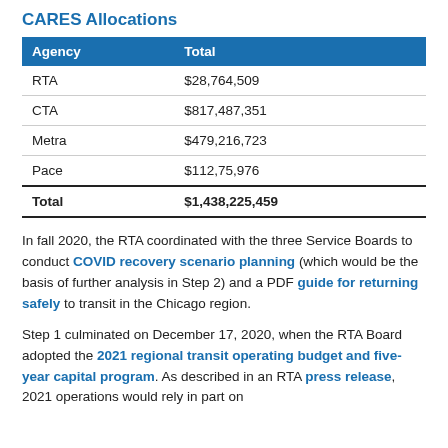CARES Allocations
| Agency | Total |
| --- | --- |
| RTA | $28,764,509 |
| CTA | $817,487,351 |
| Metra | $479,216,723 |
| Pace | $112,75,976 |
| Total | $1,438,225,459 |
In fall 2020, the RTA coordinated with the three Service Boards to conduct COVID recovery scenario planning (which would be the basis of further analysis in Step 2) and a PDF guide for returning safely to transit in the Chicago region.
Step 1 culminated on December 17, 2020, when the RTA Board adopted the 2021 regional transit operating budget and five-year capital program. As described in an RTA press release, 2021 operations would rely in part on